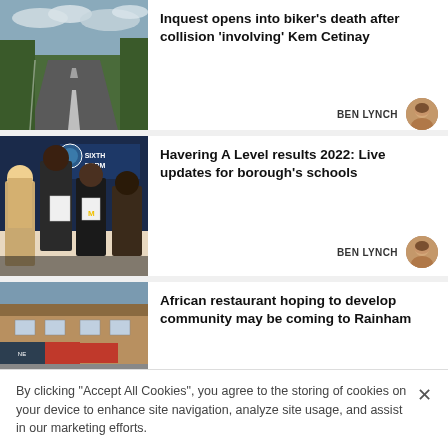[Figure (photo): Road with white markings and hedges, overcast sky]
Inquest opens into biker's death after collision 'involving' Kem Cetinay
BEN LYNCH
[Figure (photo): Group of students holding papers at sixth form event]
Havering A Level results 2022: Live updates for borough's schools
BEN LYNCH
[Figure (photo): Exterior of a building, possibly a restaurant in Rainham]
African restaurant hoping to develop community may be coming to Rainham
By clicking "Accept All Cookies", you agree to the storing of cookies on your device to enhance site navigation, analyze site usage, and assist in our marketing efforts.